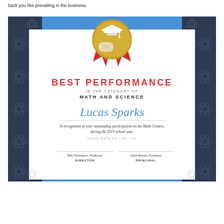back you like prevailing in the business.
[Figure (illustration): Award certificate titled 'Best Performance in the Category of Math and Science' awarded to Lucas Sparks, with graduation cap medal badge, signatures of Billy Thompson Professor Director and Clark Murray Professor Principal, on dark navy background with blue band and white body.]